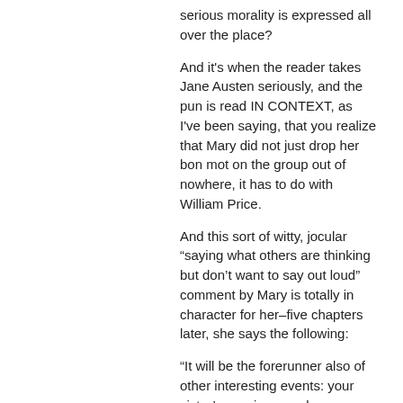serious morality is expressed all over the place?
And it's when the reader takes Jane Austen seriously, and the pun is read IN CONTEXT, as I've been saying, that you realize that Mary did not just drop her bon mot on the group out of nowhere, it has to do with William Price.
And this sort of witty, jocular “saying what others are thinking but don’t want to say out loud” comment by Mary is totally in character for her–five chapters later, she says the following:
“It will be the forerunner also of other interesting events: your sister’s marriage, and your taking orders.”
“Yes.”
“Don’t be affronted,” said she, laughing, “but it does put me in mind of some of the old heathen heroes, who, after performing